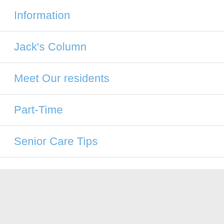Information
Jack's Column
Meet Our residents
Part-Time
Senior Care Tips
Sermons
Uncategorized